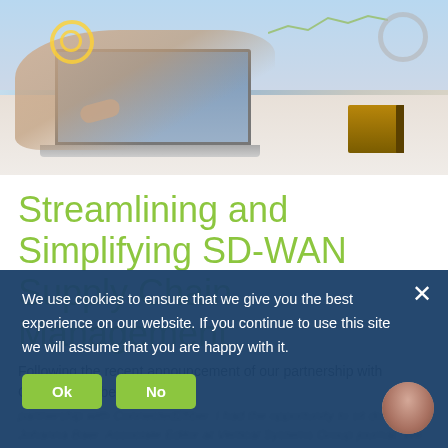[Figure (photo): Person's hand typing on a laptop keyboard with digital technology overlay graphics including gears, charts, and network diagrams in the background]
Streamlining and Simplifying SD-WAN Supply Chain Management
Following the recent announcement of our partnership with Connected2fiber, I had the
opportunity to sit down with Johanna Baer, Associate Editor at Vertical Systems Group journal. We talked about how Mosai... [...]
We use cookies to ensure that we give you the best experience on our website. If you continue to use this site we will assume that you are happy with it.